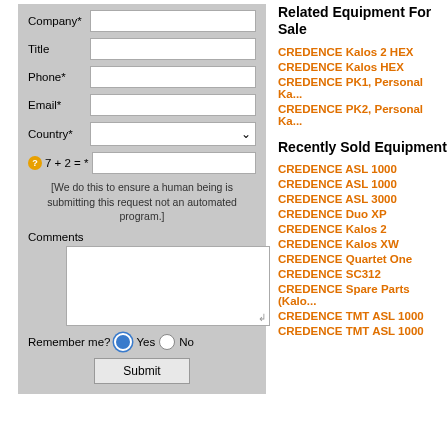Company*
Title
Phone*
Email*
Country*
7 + 2 = *
[We do this to ensure a human being is submitting this request not an automated program.]
Comments
Remember me?  Yes  No
Submit
Related Equipment For Sale
CREDENCE Kalos 2 HEX
CREDENCE Kalos HEX
CREDENCE PK1, Personal Ka...
CREDENCE PK2, Personal Ka...
Recently Sold Equipment
CREDENCE ASL 1000
CREDENCE ASL 1000
CREDENCE ASL 3000
CREDENCE Duo XP
CREDENCE Kalos 2
CREDENCE Kalos XW
CREDENCE Quartet One
CREDENCE SC312
CREDENCE Spare Parts (Kalo...
CREDENCE TMT ASL 1000
CREDENCE TMT ASL 1000